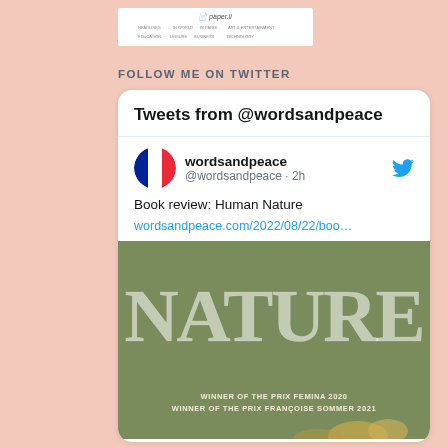[Figure (screenshot): paper.li website header screenshot with navigation links]
FOLLOW ME ON TWITTER
[Figure (screenshot): Twitter card showing tweet from @wordsandpeace about a book review of Human Nature, with a book cover image showing 'NATURE' text in large letters and 'WINNER OF THE PRIX FEMINA 2020, WINNER OF THE PRIX FRANCOIS SOMMER 2021']